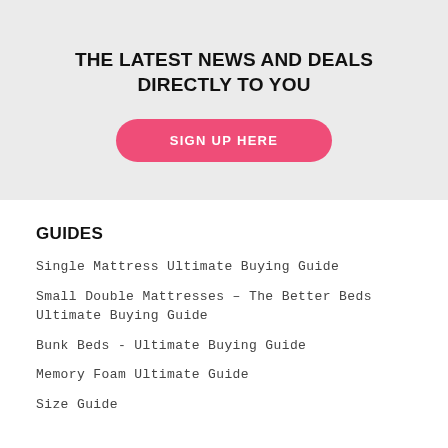THE LATEST NEWS AND DEALS DIRECTLY TO YOU
SIGN UP HERE
GUIDES
Single Mattress Ultimate Buying Guide
Small Double Mattresses – The Better Beds Ultimate Buying Guide
Bunk Beds - Ultimate Buying Guide
Memory Foam Ultimate Guide
Size Guide